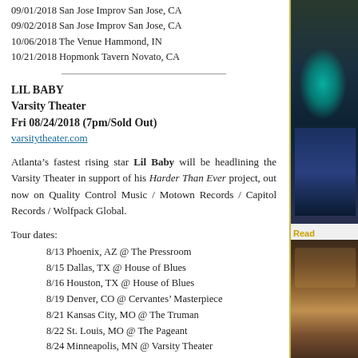09/01/2018 San Jose Improv San Jose, CA
09/02/2018 San Jose Improv San Jose, CA
10/06/2018 The Venue Hammond, IN
10/21/2018 Hopmonk Tavern Novato, CA
LIL BABY
Varsity Theater
Fri 08/24/2018 (7pm/Sold Out)
varsitytheater.com
Atlanta’s fastest rising star Lil Baby will be headlining the Varsity Theater in support of his Harder Than Ever project, out now on Quality Control Music / Motown Records / Capitol Records / Wolfpack Global.
Tour dates:
8/13 Phoenix, AZ @ The Pressroom
8/15 Dallas, TX @ House of Blues
8/16 Houston, TX @ House of Blues
8/19 Denver, CO @ Cervantes’ Masterpiece
8/21 Kansas City, MO @ The Truman
8/22 St. Louis, MO @ The Pageant
8/24 Minneapolis, MN @ Varsity Theater
8/25 Milwaukee, WI @ The Rave
8/26 Chicago, IL @ House of Blues
8/28 Detroit, MI @ St. Andrews Hall
8/29 Cleveland, OH @ House of Blues
8/31 Boston, MA @ Paradise Rock Club
9/01 Providence, RI @ The Strand